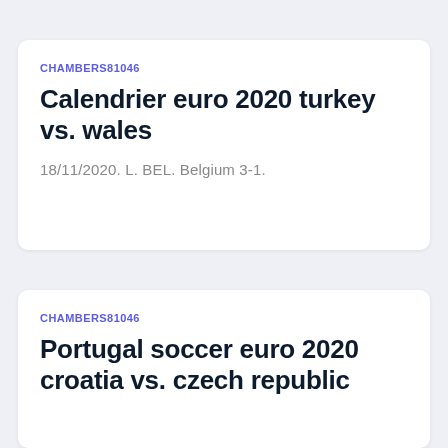CHAMBERS81046
Calendrier euro 2020 turkey vs. wales
18/11/2020. L. BEL. Belgium 3-1.
CHAMBERS81046
Portugal soccer euro 2020 croatia vs. czech republic